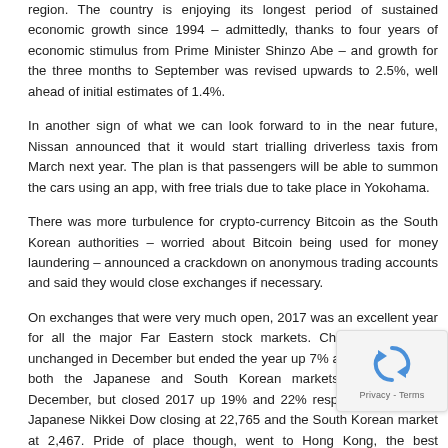region. The country is enjoying its longest period of sustained economic growth since 1994 – admittedly, thanks to four years of economic stimulus from Prime Minister Shinzo Abe – and growth for the three months to September was revised upwards to 2.5%, well ahead of initial estimates of 1.4%.
In another sign of what we can look forward to in the near future, Nissan announced that it would start trialling driverless taxis from March next year. The plan is that passengers will be able to summon the cars using an app, with free trials due to take place in Yokohama.
There was more turbulence for crypto-currency Bitcoin as the South Korean authorities – worried about Bitcoin being used for money laundering – announced a crackdown on anonymous trading accounts and said they would close exchanges if necessary.
On exchanges that were very much open, 2017 was an excellent year for all the major Far Eastern stock markets. China was virtually unchanged in December but ended the year up 7% at 3,307. Similarly both the Japanese and South Korean markets were quiet in December, but closed 2017 up 19% and 22% respectively, with the Japanese Nikkei Dow closing at 22,765 and the South Korean market at 2,467. Pride of place though, went to Hong Kong, the best performing market of those we cover in this commentary. The stock market there in December to end the month at 29,919 – up 36% for the whole.
Emerging Markets